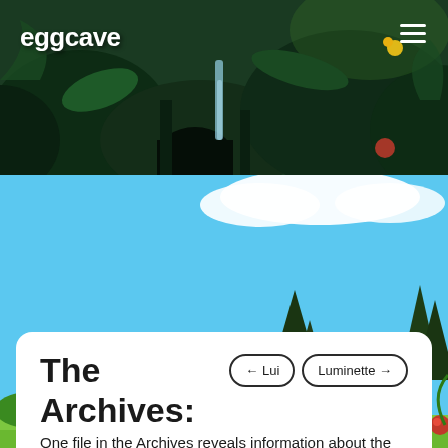eggcave
[Figure (illustration): Jungle/forest background banner with dark green foliage, cave, waterfall, and tropical plants]
[Figure (illustration): Sky background with clouds, dark pine trees, green ground — cartoon game world scene]
The Archives: Luminese
← Lui   Luminette →
Search species...
One file in the Archives reveals information about the